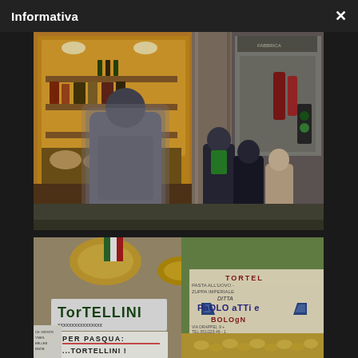Informativa ×
[Figure (photo): Street scene outside an Italian delicatessen/food shop in Bologna, Italy. The shop window is warmly lit showing bottles of wine, meats, and food products. People are walking on the sidewalk in front of the shop, including a blurred figure in the foreground and a group of people in dark winter coats in the background.]
[Figure (photo): Close-up of an Italian food market display showing tortellini pasta and signs. A handwritten sign reads 'PER PASQUA: ...TORTELLINI!' and a branded box reads 'TORTELLINI - PASTA ALL'UOVO - ZUPPA IMPERIALE - DITTA PAOLO ATTI E... BOLOGNA'. In the background are food items and golden decorations.]